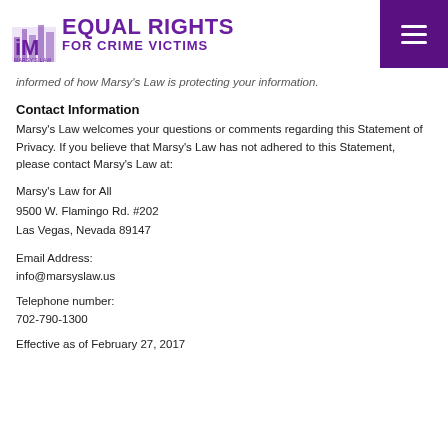[Figure (logo): Marsy's Law Equal Rights for Crime Victims logo with purple text and stylized iM icon]
…keeping you properly informed of how Marsy's Law is protecting your information.
Contact Information
Marsy's Law welcomes your questions or comments regarding this Statement of Privacy. If you believe that Marsy's Law has not adhered to this Statement, please contact Marsy's Law at:
Marsy's Law for All
9500 W. Flamingo Rd. #202
Las Vegas, Nevada 89147
Email Address:
info@marsyslaw.us
Telephone number:
702-790-1300
Effective as of February 27, 2017